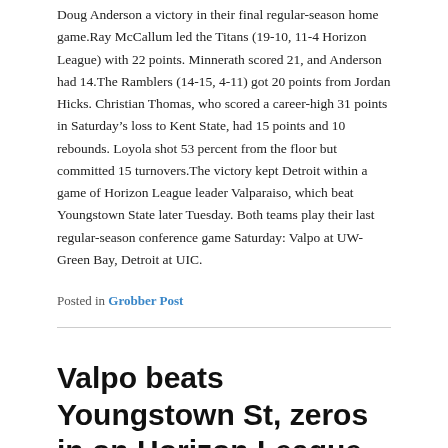Doug Anderson a victory in their final regular-season home game.Ray McCallum led the Titans (19-10, 11-4 Horizon League) with 22 points. Minnerath scored 21, and Anderson had 14.The Ramblers (14-15, 4-11) got 20 points from Jordan Hicks. Christian Thomas, who scored a career-high 31 points in Saturday's loss to Kent State, had 15 points and 10 rebounds. Loyola shot 53 percent from the floor but committed 15 turnovers.The victory kept Detroit within a game of Horizon League leader Valparaiso, which beat Youngstown State later Tuesday. Both teams play their last regular-season conference game Saturday: Valpo at UW-Green Bay, Detroit at UIC.
Posted in Grobber Post
Valpo beats Youngstown St, zeros in on Horizon League Title